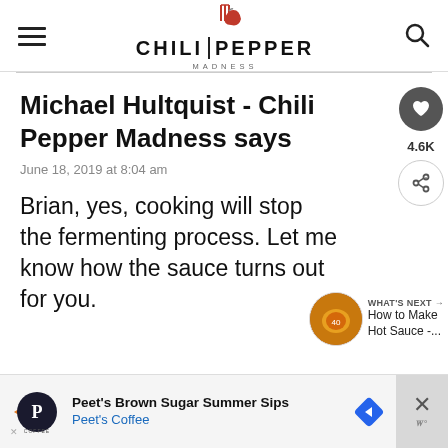CHILI PEPPER MADNESS
Michael Hultquist - Chili Pepper Madness says
June 18, 2019 at 8:04 am
Brian, yes, cooking will stop the fermenting process. Let me know how the sauce turns out for you.
[Figure (other): What's Next navigation widget showing a hot sauce image with text 'WHAT'S NEXT → How to Make Hot Sauce -...']
[Figure (other): Peet's Coffee advertisement banner: Peet's Brown Sugar Summer Sips, Peet's Coffee]